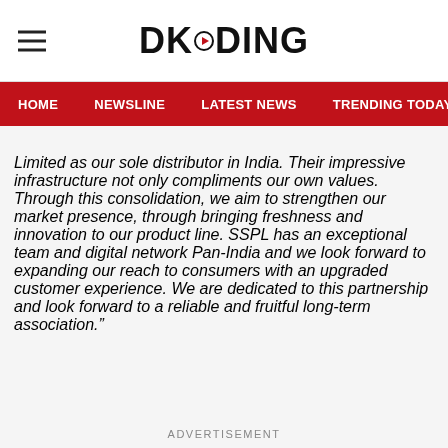DKODING
HOME  NEWSLINE  LATEST NEWS  TRENDING TODAY  ENT
Limited as our sole distributor in India. Their impressive infrastructure not only compliments our own values. Through this consolidation, we aim to strengthen our market presence, through bringing freshness and innovation to our product line. SSPL has an exceptional team and digital network Pan-India and we look forward to expanding our reach to consumers with an upgraded customer experience. We are dedicated to this partnership and look forward to a reliable and fruitful long-term association.”
ADVERTISEMENT